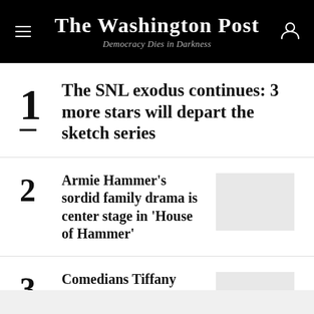The Washington Post
Democracy Dies in Darkness
The SNL exodus continues: 3 more stars will depart the sketch series
Armie Hammer's sordid family drama is center stage in 'House of Hammer'
Comedians Tiffany Haddish, Aries Spears accused of child sexual abuse